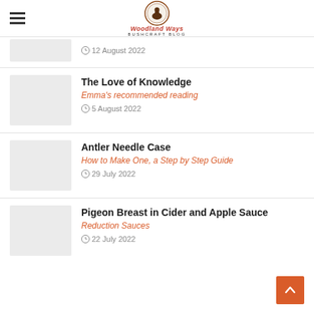Woodland Ways Bushcraft Blog
12 August 2022
The Love of Knowledge
Emma's recommended reading
5 August 2022
Antler Needle Case
How to Make One, a Step by Step Guide
29 July 2022
Pigeon Breast in Cider and Apple Sauce
Reduction Sauces
22 July 2022